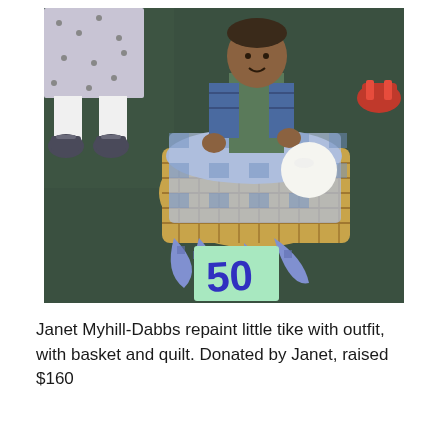[Figure (photo): A photograph showing a doll dressed in a vest and blue plaid shirt sitting in a wicker basket/carriage lined with blue gingham fabric, with a white ball beside it. A green card with '50' written in blue marker is on the floor in front. Children's feet in black Mary Jane shoes and white socks are visible at upper left, and red sandals at upper right. The background floor is dark green.]
Janet Myhill-Dabbs repaint little tike with outfit, with basket and quilt. Donated by Janet, raised $160